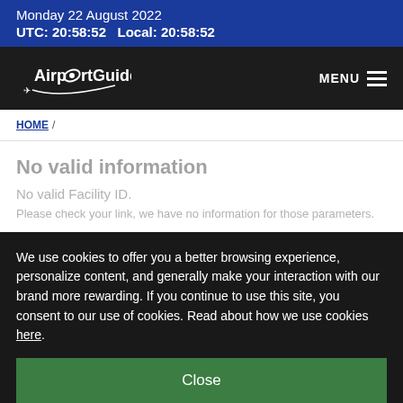Monday 22 August 2022
UTC: 20:58:52   Local: 20:58:52
[Figure (logo): AirportGuide logo with stylized plane graphic, white text on dark background]
MENU
HOME /
No valid information. No valid Facility ID. Please check your link, we have no information for those parameters.
We use cookies to offer you a better browsing experience, personalize content, and generally make your interaction with our brand more rewarding. If you continue to use this site, you consent to our use of cookies. Read about how we use cookies here.
Close